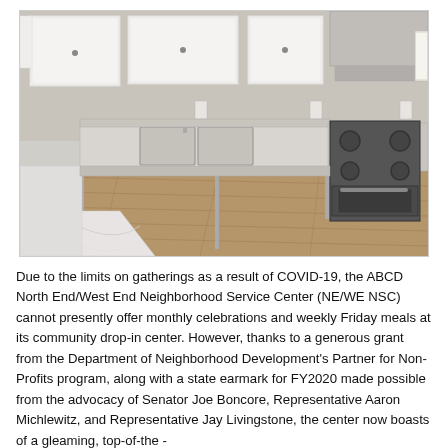[Figure (photo): Interior photo of a commercial kitchen with stainless steel countertops, a double sink, white upper cabinets, a stove and oven, and hardwood-style flooring. A marble countertop is visible in the lower left corner.]
Due to the limits on gatherings as a result of COVID-19, the ABCD North End/West End Neighborhood Service Center (NE/WE NSC) cannot presently offer monthly celebrations and weekly Friday meals at its community drop-in center. However, thanks to a generous grant from the Department of Neighborhood Development's Partner for Non-Profits program, along with a state earmark for FY2020 made possible from the advocacy of Senator Joe Boncore, Representative Aaron Michlewitz, and Representative Jay Livingstone, the center now boasts of a gleaming, top-of-the -